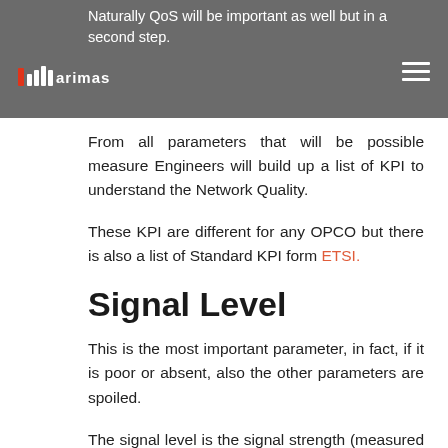Naturally QoS will be important as well but in a second step.
From all parameters that will be possible measure Engineers will build up a list of KPI to understand the Network Quality.
These KPI are different for any OPCO but there is also a list of Standard KPI form ETSI.
Signal Level
This is the most important parameter, in fact, if it is poor or absent, also the other parameters are spoiled.
The signal level is the signal strength (measured in dBm) received by the mobile phone from the cell site. Depending on various